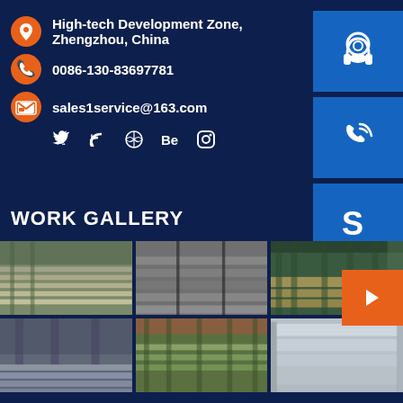High-tech Development Zone, Zhengzhou, China
0086-130-83697781
sales1service@163.com
[Figure (infographic): Social media icons row: Twitter, RSS, Dribbble, Behance, Instagram]
[Figure (infographic): Three blue buttons on right side: headset/customer support icon, phone with signal icon, Skype icon]
WORK GALLERY
[Figure (photo): Grid of 6 industrial steel manufacturing facility photos showing steel plates and factory floors]
[Figure (infographic): Orange button with right arrow icon]